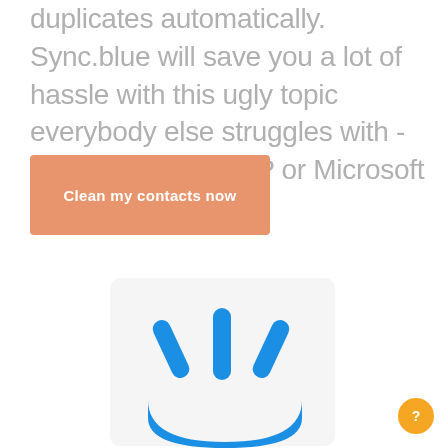duplicates automatically. Sync.blue will save you a lot of hassle with this ugly topic everybody else struggles with - no matter if in LDAP or Microsoft Exchange.
[Figure (illustration): Orange/salmon rounded rectangle button labeled 'Clean my contacts now' in white bold text]
[Figure (illustration): Blue cartoon robot or phone character face on a white rounded rectangle card, showing stylized eyes and a mouth shape in blue]
[Figure (other): Orange circular help/question mark button in lower right corner]